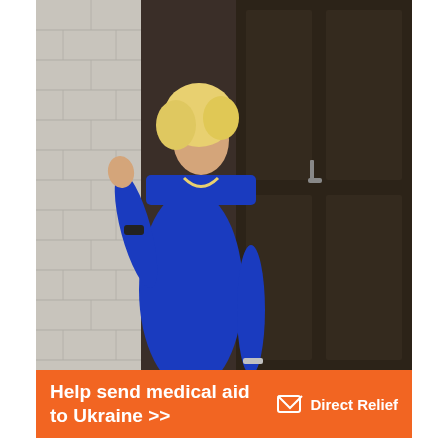[Figure (photo): A blonde woman in a blue dress leaning against a white brick wall next to a large dark wooden door, with her hand raised.]
Help send medical aid to Ukraine >>